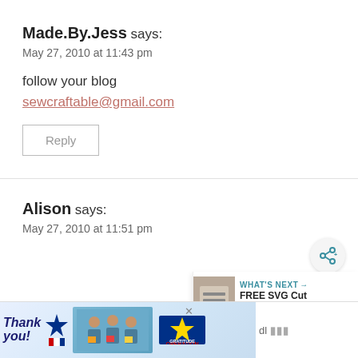Made.By.Jess says:
May 27, 2010 at 11:43 pm
follow your blog
sewcraftable@gmail.com
Reply
Alison says:
May 27, 2010 at 11:51 pm
[Figure (screenshot): Share button (circular icon with share symbol)]
[Figure (screenshot): WHAT'S NEXT panel showing FREE SVG Cut Files for Cri... with thumbnail image]
[Figure (photo): Advertisement banner: Thank you! Operation Gratitude with people holding cards]